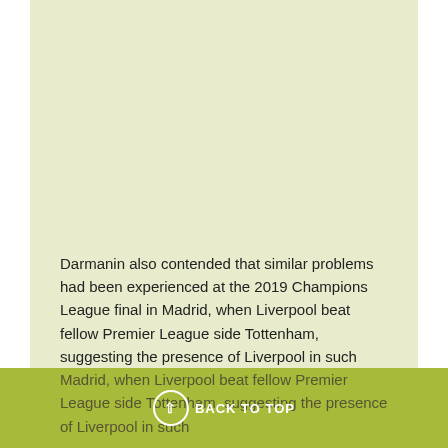[Figure (other): Large light yellowish-green background area occupying most of the upper portion of the page]
Darmanin also contended that similar problems had been experienced at the 2019 Champions League final in Madrid, when Liverpool beat fellow Premier League side Tottenham, suggesting the presence of Liverpool in such
BACK TO TOP